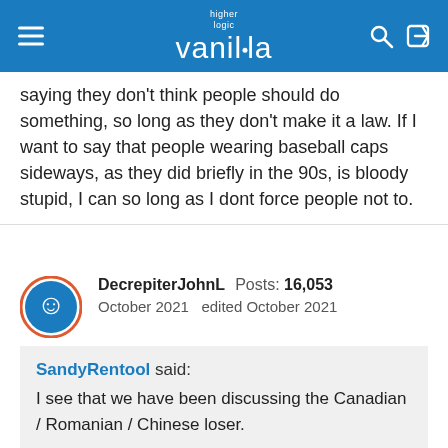higher logic vanilla
saying they don't think people should do something, so long as they don't make it a law. If I want to say that people wearing baseball caps sideways, as they did briefly in the 90s, is bloody stupid, I can so long as I dont force people not to.
DecrepiterJohnL  Posts: 16,053
October 2021   edited October 2021
SandyRentool said:
I see that we have been discussing the Canadian / Romanian / Chinese loser.

Otherwise known as British tennis star Emma Raducanu.